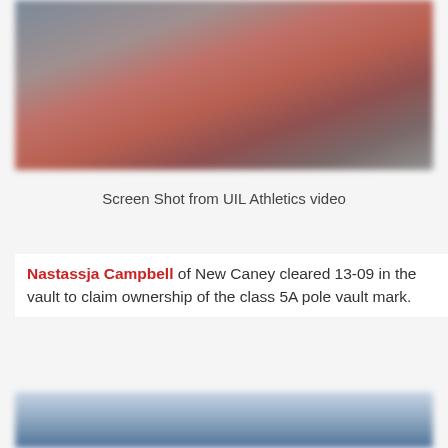[Figure (photo): Blurred screen shot from UIL Athletics video showing an indoor/outdoor track and field event with red track elements visible]
Screen Shot from UIL Athletics video
Nastassja Campbell of New Caney cleared 13-09 in the vault to claim ownership of the class 5A pole vault mark.
[Figure (photo): Blurred photo showing a light blue sky background, partial view of an athletic pole vault scene]